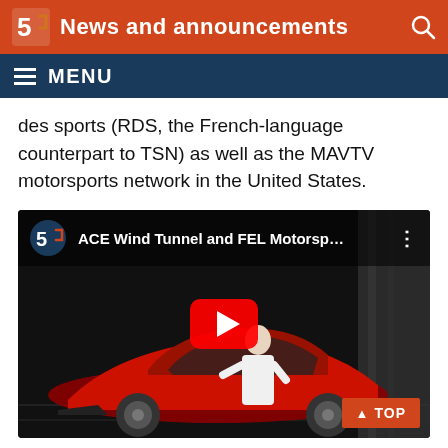News and announcements
MENU
des sports (RDS, the French-language counterpart to TSN) as well as the MAVTV motorsports network in the United States.
[Figure (screenshot): YouTube video thumbnail showing a red racing car in a wind tunnel with a person in a white lab coat. Video title: ACE Wind Tunnel and FEL Motorsp...]